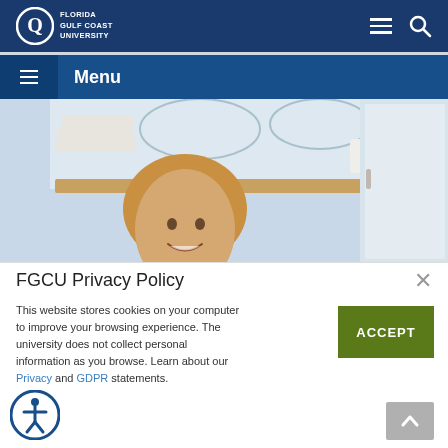[Figure (screenshot): Florida Gulf Coast University website screenshot showing navigation bar with FGCU logo, hamburger menu, search icon, a blue menu bar with 'Menu' label, a photo of a smiling woman near kitchen shelves with mugs and dishes, and a privacy policy cookie consent popup]
Florida Gulf Coast University
Menu
FGCU Privacy Policy
This website stores cookies on your computer to improve your browsing experience. The university does not collect personal information as you browse. Learn about our Privacy and GDPR statements.